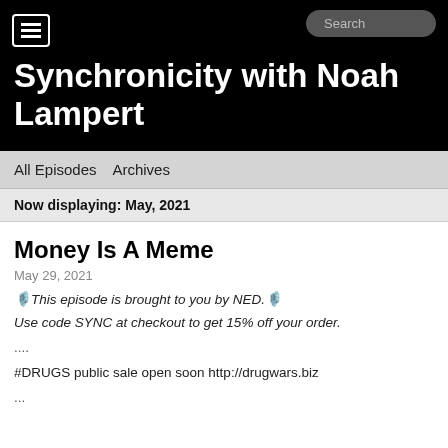Synchronicity with Noah Lampert
All Episodes   Archives
Now displaying: May, 2021
Money Is A Meme
May 29, 2021
🎙️This episode is brought to you by NED.🎙️
Use code SYNC at checkout to get 15% off your order.
....
#DRUGS public sale open soon http://drugwars.biz
...